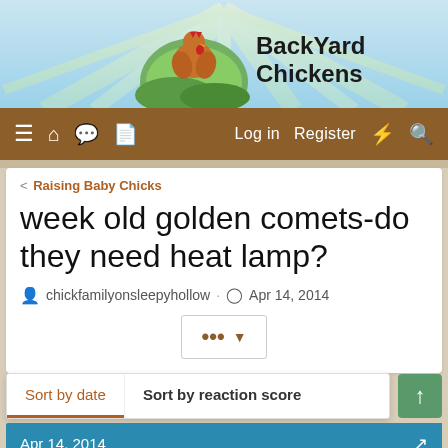[Figure (screenshot): BackYard Chickens website header with chicken logo and site name]
≡ 🏠 💬 📄   Log in   Register  ⚡  🔍
< Raising Baby Chicks
week old golden comets-do they need heat lamp?
chickfamilyonsleepyhollow · Apr 14, 2014
Sort by date   Sort by reaction score
Apr 14, 2014
chickfamilyonsleepyhollow
Songster   13 Years